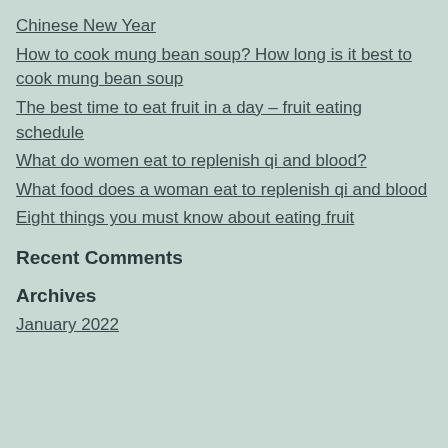Chinese New Year
How to cook mung bean soup? How long is it best to cook mung bean soup
The best time to eat fruit in a day – fruit eating schedule
What do women eat to replenish qi and blood?
What food does a woman eat to replenish qi and blood
Eight things you must know about eating fruit
Recent Comments
Archives
January 2022